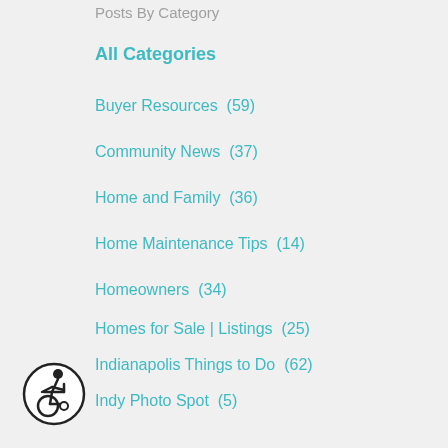Posts By Category
All Categories
Buyer Resources  (59)
Community News  (37)
Home and Family  (36)
Home Maintenance Tips  (14)
Homeowners  (34)
Homes for Sale | Listings  (25)
Indianapolis Things to Do  (62)
Indy Photo Spot  (5)
Lifestyle Communities  (4)
Local Indy  (42)
Market Statistics  (87)
Mortgage News and Info  (49)
Parks and Recreation  (12)
[Figure (illustration): Accessibility icon — wheelchair user in a circle]